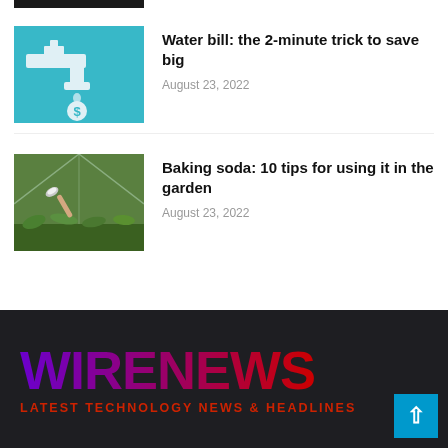[Figure (photo): Dark/black thumbnail image at top, partially cut off]
[Figure (photo): Teal/cyan background with white faucet illustration and dollar sign, representing water bill savings article]
Water bill: the 2-minute trick to save big
August 23, 2022
[Figure (photo): Greenhouse/garden scene with hand holding a small spoon with baking soda over plants]
Baking soda: 10 tips for using it in the garden
August 23, 2022
WIRENEWS
LATEST TECHNOLOGY NEWS & HEADLINES